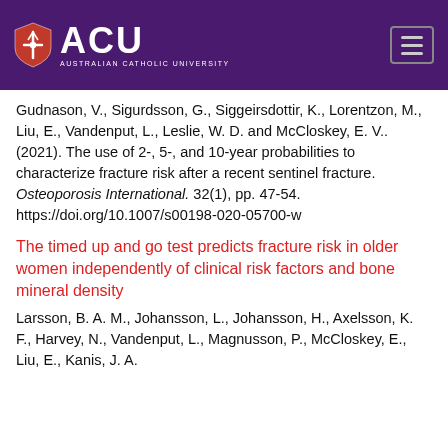ACU AUSTRALIAN CATHOLIC UNIVERSITY
Gudnason, V., Sigurdsson, G., Siggeirsdottir, K., Lorentzon, M., Liu, E., Vandenput, L., Leslie, W. D. and McCloskey, E. V.. (2021). The use of 2-, 5-, and 10-year probabilities to characterize fracture risk after a recent sentinel fracture. Osteoporosis International. 32(1), pp. 47-54. https://doi.org/10.1007/s00198-020-05700-w
The timed up and go test predicts fracture risk in older women independently of clinical risk factors and bone mineral density
Larsson, B. A. M., Johansson, L., Johansson, H., Axelsson, K. F., Harvey, N., Vandenput, L., Magnusson, P., McCloskey, E., Liu, E., Kanis, J. A.